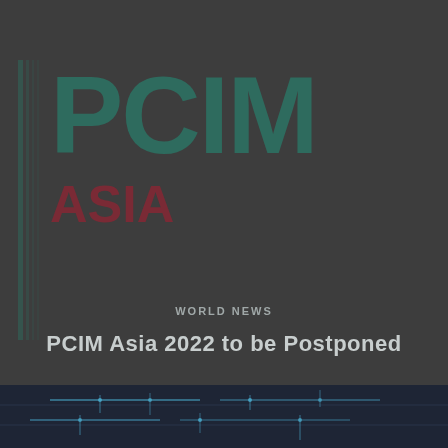[Figure (logo): PCIM Asia logo with large dark teal PCIM text and dark red ASIA text below, on dark gray background with decorative sidebar lines]
WORLD NEWS
PCIM Asia 2022 to be Postponed
[Figure (photo): Circuit board close-up with glowing blue lines on dark background, bottom strip of image]